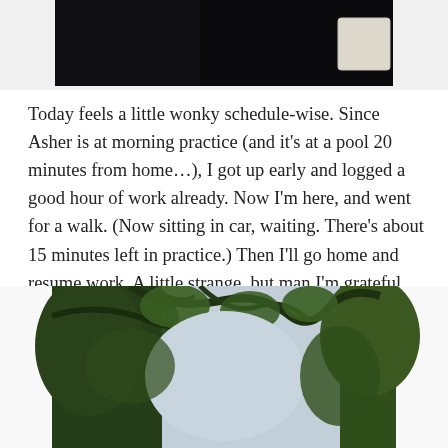[Figure (photo): Bottom portion of a person wearing a black shirt, cropped photo showing dark clothing against white background]
Today feels a little wonky schedule-wise. Since Asher is at morning practice (and it’s at a pool 20 minutes from home…), I got up early and logged a good hour of work already. Now I’m here, and went for a walk. (Now sitting in car, waiting. There’s about 15 minutes left in practice.) Then I’ll go home and resume work. A little strange, but man I’m grateful for the flexibility to be able to do this.
[Figure (photo): Photo looking up through tree branches with green foliage against a light overcast sky]